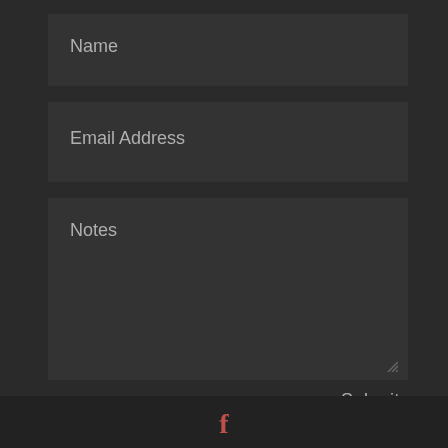Name
Email Address
Notes
Submit
[Figure (logo): Facebook 'f' logo icon in red/salmon color at the bottom center of the page]